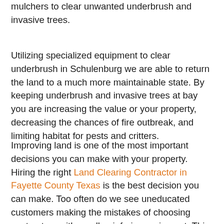mulchers to clear unwanted underbrush and invasive trees.
Utilizing specialized equipment to clear underbrush in Schulenburg we are able to return the land to a much more maintainable state. By keeping underbrush and invasive trees at bay you are increasing the value or your property, decreasing the chances of fire outbreak, and limiting habitat for pests and critters.
Improving land is one of the most important decisions you can make with your property. Hiring the right Land Clearing Contractor in Fayette County Texas is the best decision you can make. Too often do we see uneducated customers making the mistakes of choosing contractors with smaller, inferior equipment. This is an expensive lesson to learn and one we can help make sure you do not make. Trust Pierce